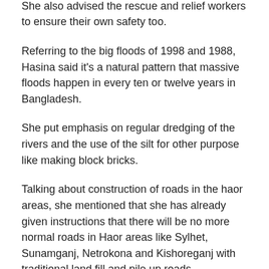people in all kinds of disasters.
She also advised the rescue and relief workers to ensure their own safety too.
Referring to the big floods of 1998 and 1988, Hasina said it's a natural pattern that massive floods happen in every ten or twelve years in Bangladesh.
She put emphasis on regular dredging of the rivers and the use of the silt for other purpose like making block bricks.
Talking about construction of roads in the haor areas, she mentioned that she has already given instructions that there will be no more normal roads in Haor areas like Sylhet, Sunamganj, Netrokona and Kishoreganj with traditional land fill and pile up roads.
“It will be elevated roads from now. These types of roads do not get damaged quickly and even in calamities like floods the communication remains smooth.”